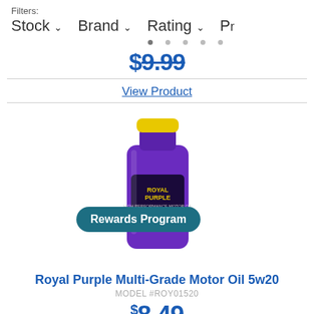Filters: Stock ▾   Brand ▾   Rating ▾   Pr
• • • • •
$9.99
View Product
[Figure (photo): Purple bottle of Royal Purple Multi-Grade Motor Oil 5w20 with yellow cap, with a teal 'Rewards Program' badge overlaid on the lower left of the image.]
Royal Purple Multi-Grade Motor Oil 5w20
MODEL #ROY01520
$8.49